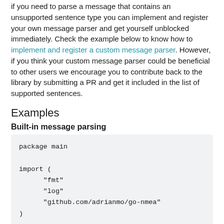if you need to parse a message that contains an unsupported sentence type you can implement and register your own message parser and get yourself unblocked immediately. Check the example below to know how to implement and register a custom message parser. However, if you think your custom message parser could be beneficial to other users we encourage you to contribute back to the library by submitting a PR and get it included in the list of supported sentences.
Examples
Built-in message parsing
package main

import (
      "fmt"
      "log"
      "github.com/adrianmo/go-nmea"
)